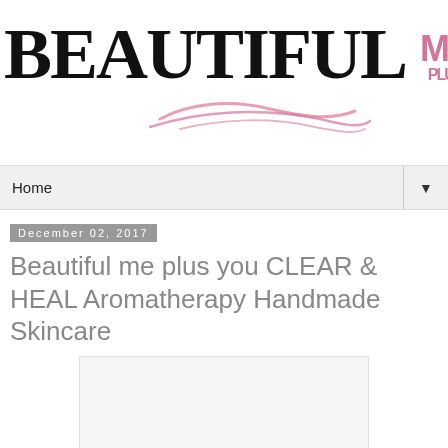BEAUTIFUL me PLUS YOU
Home
December 02, 2017
Beautiful me plus you CLEAR & HEAL Aromatherapy Handmade Skincare
[Figure (photo): Light gray placeholder image box for product photo]